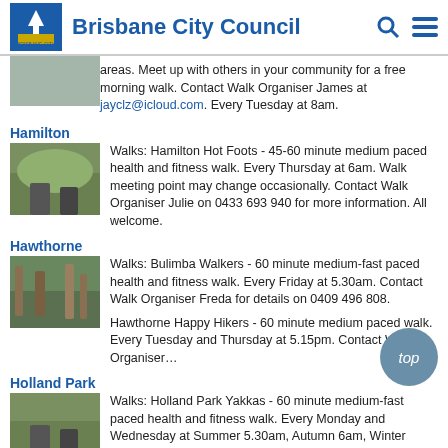Brisbane City Council
areas. Meet up with others in your community for a free morning walk. Contact Walk Organiser James at jayclz@icloud.com. Every Tuesday at 8am.
Hamilton
Walks: Hamilton Hot Foots - 45-60 minute medium paced health and fitness walk. Every Thursday at 6am. Walk meeting point may change occasionally. Contact Walk Organiser Julie on 0433 693 940 for more information. All welcome.
Hawthorne
Walks: Bulimba Walkers - 60 minute medium-fast paced health and fitness walk. Every Friday at 5.30am. Contact Walk Organiser Freda for details on 0409 496 808.
Hawthorne Happy Hikers - 60 minute medium paced walk. Every Tuesday and Thursday at 5.15pm. Contact Walk Organiser…
Holland Park
Walks: Holland Park Yakkas - 60 minute medium-fast paced health and fitness walk. Every Monday and Wednesday at Summer 5.30am, Autumn 6am, Winter 6.30am,